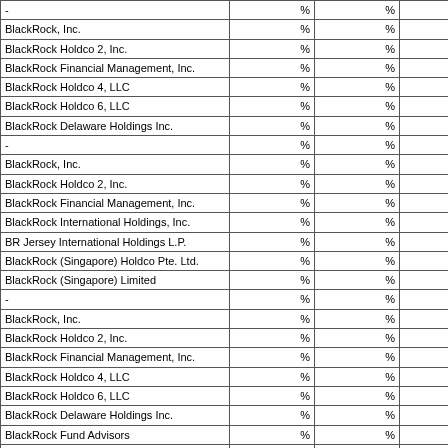| - | % | % | % |
| BlackRock, Inc. | % | % | % |
| BlackRock Holdco 2, Inc. | % | % | % |
| BlackRock Financial Management, Inc. | % | % | % |
| BlackRock Holdco 4, LLC | % | % | % |
| BlackRock Holdco 6, LLC | % | % | % |
| BlackRock Delaware Holdings Inc. | % | % | % |
| - | % | % | % |
| BlackRock, Inc. | % | % | % |
| BlackRock Holdco 2, Inc. | % | % | % |
| BlackRock Financial Management, Inc. | % | % | % |
| BlackRock International Holdings, Inc. | % | % | % |
| BR Jersey International Holdings L.P. | % | % | % |
| BlackRock (Singapore) Holdco Pte. Ltd. | % | % | % |
| BlackRock (Singapore) Limited | % | % | % |
| - | % | % | % |
| BlackRock, Inc. | % | % | % |
| BlackRock Holdco 2, Inc. | % | % | % |
| BlackRock Financial Management, Inc. | % | % | % |
| BlackRock Holdco 4, LLC | % | % | % |
| BlackRock Holdco 6, LLC | % | % | % |
| BlackRock Delaware Holdings Inc. | % | % | % |
| BlackRock Fund Advisors | % | % | % |
| - | % | % | % |
| BlackRock, Inc. | % | % | % |
| BlackRock Holdco 2, Inc. | % | % | % |
| BlackRock Financial Management, Inc. | % | % | % |
| BlackRock Holdco 4, LLC | % | % | % |